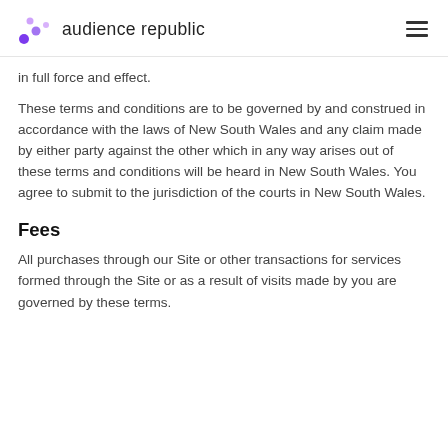audience republic
in full force and effect.
These terms and conditions are to be governed by and construed in accordance with the laws of New South Wales and any claim made by either party against the other which in any way arises out of these terms and conditions will be heard in New South Wales. You agree to submit to the jurisdiction of the courts in New South Wales.
Fees
All purchases through our Site or other transactions for services formed through the Site or as a result of visits made by you are governed by these terms.